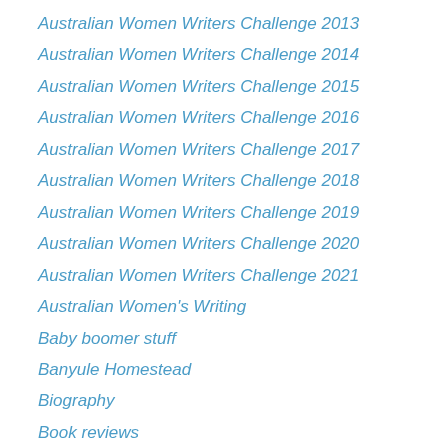Australian Women Writers Challenge 2013
Australian Women Writers Challenge 2014
Australian Women Writers Challenge 2015
Australian Women Writers Challenge 2016
Australian Women Writers Challenge 2017
Australian Women Writers Challenge 2018
Australian Women Writers Challenge 2019
Australian Women Writers Challenge 2020
Australian Women Writers Challenge 2021
Australian Women's Writing
Baby boomer stuff
Banyule Homestead
Biography
Book reviews
Booker Prize Nomination
British Guiana
bushfires
Christmas
Colonial biography
Conferences